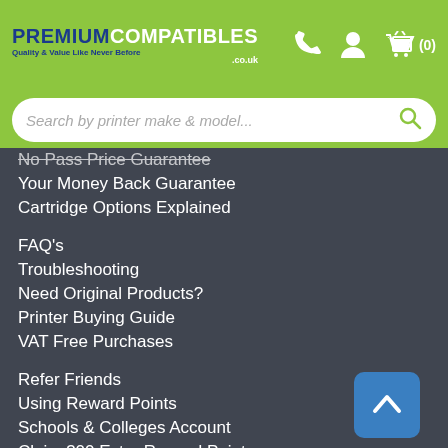[Figure (logo): Premium Compatibles logo with green background, phone icon, person icon, and basket icon with (0)]
Search by printer make & model...
No Pass Price Guarantee
Your Money Back Guarantee
Cartridge Options Explained
FAQ's
Troubleshooting
Need Original Products?
Printer Buying Guide
VAT Free Purchases
Refer Friends
Using Reward Points
Schools & Colleges Account
Claim 300 Extra Reward Points
Be a Credit Account Customer
Delivery Options
Return & Refunds